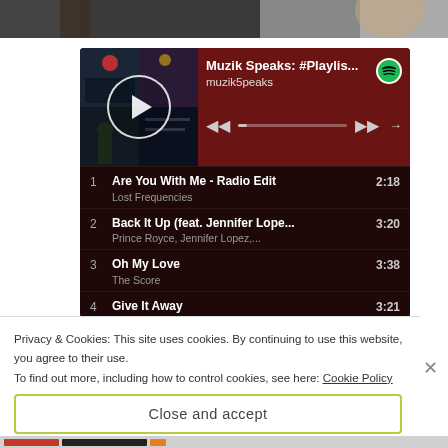[Figure (screenshot): Top portion of a webpage photo showing a person, cropped at the top edge]
[Figure (screenshot): Spotify embedded music player widget showing playlist 'Muzik Speaks: #Playlis...' by muzik5peaks with track list including: 1. Are You With Me - Radio Edit by Lost Frequencies (2:18), 2. Back It Up (feat. Jennifer Lope... by Prince Royce, Jennifer Lopez,... (3:20), 3. Oh My Love by The Score (3:38), 4. Give It Away (3:21)]
Privacy & Cookies: This site uses cookies. By continuing to use this website, you agree to their use.
To find out more, including how to control cookies, see here: Cookie Policy
Close and accept